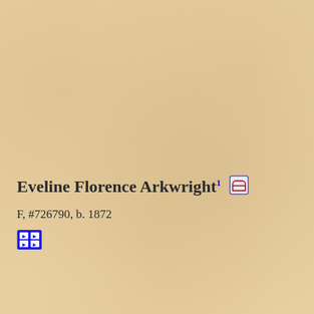Eveline Florence Arkwright¹ 🪦
F, #726790, b. 1872